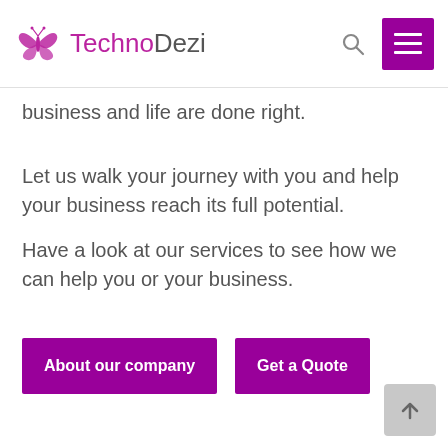TechnoDezi
business and life are done right.
Let us walk your journey with you and help your business reach its full potential.
Have a look at our services to see how we can help you or your business.
About our company
Get a Quote